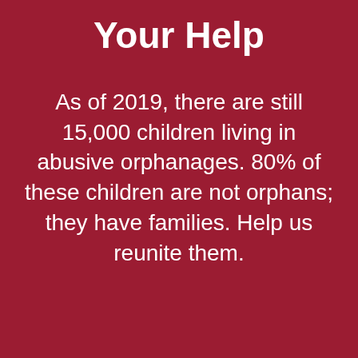Your Help
As of 2019, there are still 15,000 children living in abusive orphanages. 80% of these children are not orphans; they have families. Help us reunite them.